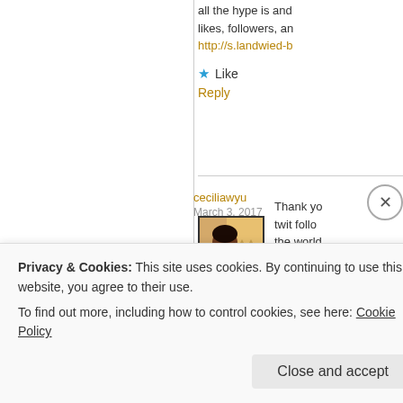all the hype is and likes, followers, an
http://s.landwied-b
★ Like
Reply
ceciliawyu
March 3, 2017
[Figure (photo): Avatar photo of a person holding a cat]
Thank yo twit follo the world 🙂 I rest been my
Privacy & Cookies: This site uses cookies. By continuing to use this website, you agree to their use.
To find out more, including how to control cookies, see here: Cookie Policy
Close and accept